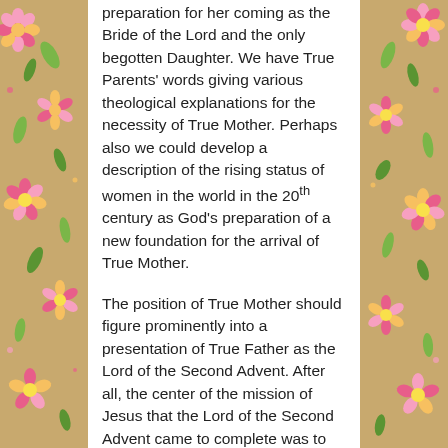preparation for her coming as the Bride of the Lord and the only begotten Daughter. We have True Parents' words giving various theological explanations for the necessity of True Mother. Perhaps also we could develop a description of the rising status of women in the world in the 20th century as God's preparation of a new foundation for the arrival of True Mother.
The position of True Mother should figure prominently into a presentation of True Father as the Lord of the Second Advent. After all, the center of the mission of Jesus that the Lord of the Second Advent came to complete was to receive his Bride at the Marriage Feast of the Lamb and establish the True Family. The presentation of True Father as the Lord of the Second Advent will certainly include his mission to find True Mother, and in that context, God's